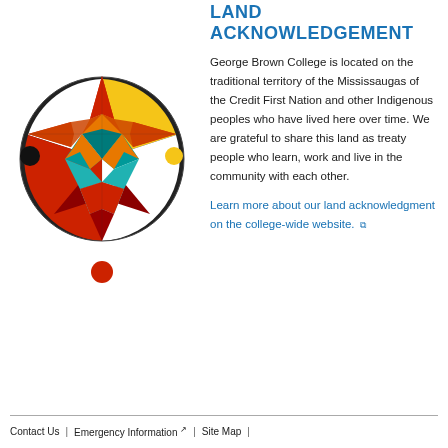[Figure (illustration): Colorful Indigenous star quilt design inside a circle with black, white, red, and yellow quadrants. Small circles in black, yellow, and red around the design.]
LAND ACKNOWLEDGEMENT
George Brown College is located on the traditional territory of the Mississaugas of the Credit First Nation and other Indigenous peoples who have lived here over time. We are grateful to share this land as treaty people who learn, work and live in the community with each other.
Learn more about our land acknowledgment on the college-wide website. ↗
Contact Us | Emergency Information ↗ | Site Map |